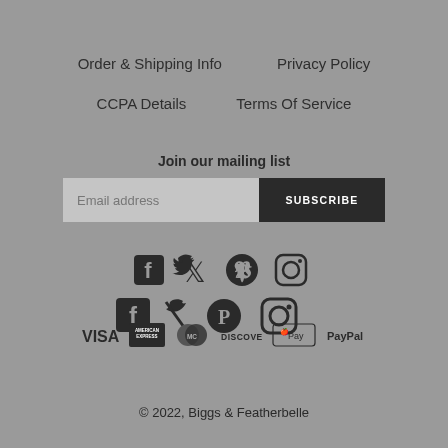Order & Shipping Info
Privacy Policy
CCPA Details
Terms Of Service
Join our mailing list
Email address
SUBSCRIBE
[Figure (other): Social media icons: Facebook, Twitter, Pinterest, Instagram]
[Figure (other): Payment method icons: VISA, American Express, Mastercard, Discover, Apple Pay, PayPal]
© 2022, Biggs & Featherbelle